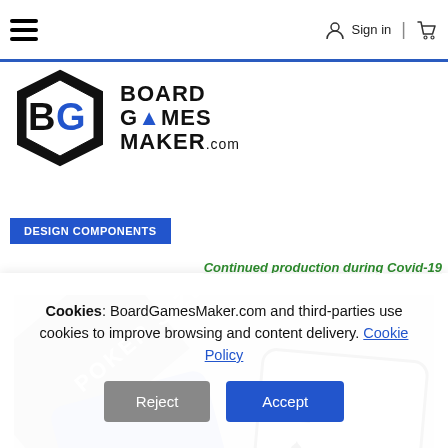Sign in | [cart]
[Figure (logo): BoardGamesMaker.com logo with hexagonal emblem and bold text reading BOARD GAMES MAKER.com]
DESIGN COMPONENTS
Continued production during Covid-19
[Figure (photo): Poker size playing cards showing blue card backs with 'POKER SIZE' banner and an ace of spades, overlaid with Add your design text]
Cookies: BoardGamesMaker.com and third-parties use cookies to improve browsing and content delivery. Cookie Policy